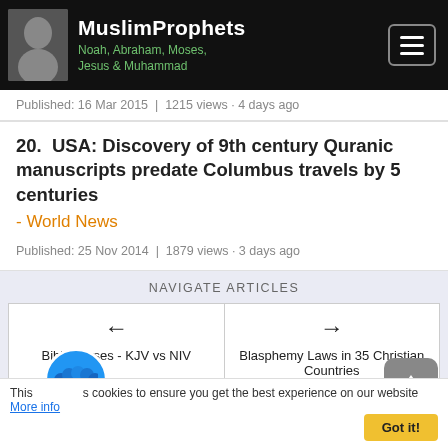MuslimProphets - Noah, Abraham, Moses, Jesus & Muhammad
Published: 16 Mar 2015  |  1215 views · 4 days ago
20.   USA: Discovery of 9th century Quranic manuscripts predate Columbus travels by 5 centuries - World News
Published: 25 Nov 2014  |  1879 views · 3 days ago
NAVIGATE ARTICLES
← Bible Verses - KJV vs NIV
→ Blasphemy Laws in 35 Christian Countries
ORDER: Article Title A-Z
This website uses cookies to ensure you get the best experience on our website More info  Got it!